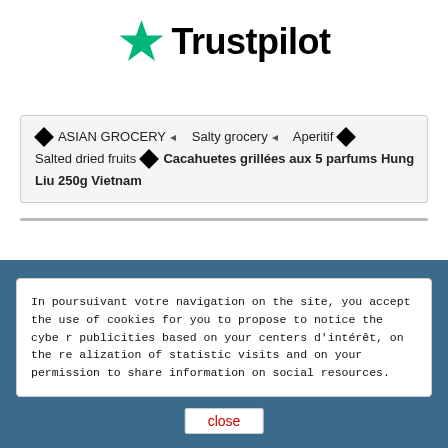[Figure (logo): Trustpilot logo with green star and bold black text]
◆ ASIAN GROCERY ◂ Salty grocery ◂ Aperitif ◆ Salted dried fruits ◆ Cacahuetes grillées aux 5 parfums Hung Liu 250g Vietnam
In poursuivant votre navigation on the site, you accept the use of cookies for you to propose to notice the cyber publicities based on your centers d'intérêt, on the realization of statistic visits and on your permission to share information on social resources.
close